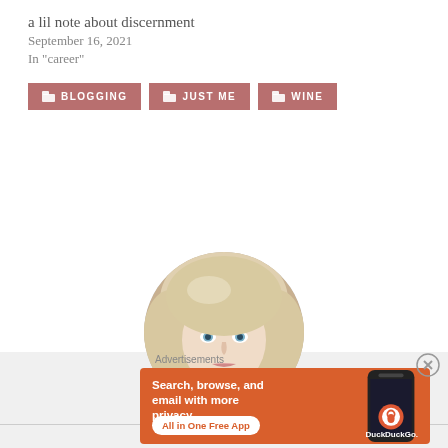a lil note about discernment
September 16, 2021
In "career"
BLOGGING
JUST ME
WINE
[Figure (photo): Circular profile photo of a woman with light blonde/silver hair and blue eyes]
Advertisements
[Figure (other): DuckDuckGo advertisement banner: Search, browse, and email with more privacy. All in One Free App. DuckDuckGo.]